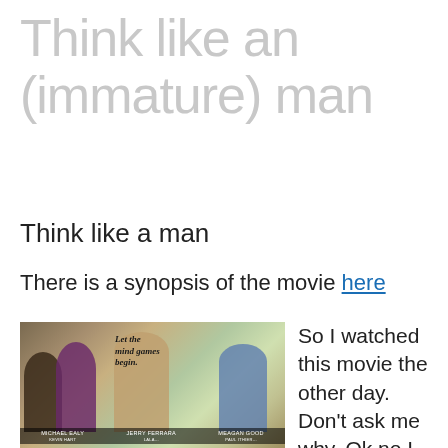Think like an (immature) man
Think like a man
There is a synopsis of the movie here
[Figure (photo): Movie poster for 'Think Like a Man' showing several actors with the tagline 'Let the mind games begin.' Credits at bottom show Michael Ealy, Jerry Ferrara, Meagan Good and others.]
So I watched this movie the other day. Don't ask me why. Ok no I will